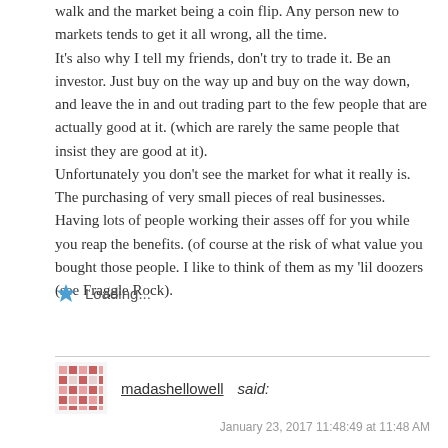walk and the market being a coin flip. Any person new to markets tends to get it all wrong, all the time.
It's also why I tell my friends, don't try to trade it. Be an investor. Just buy on the way up and buy on the way down, and leave the in and out trading part to the few people that are actually good at it. (which are rarely the same people that insist they are good at it).
Unfortunately you don't see the market for what it really is. The purchasing of very small pieces of real businesses. Having lots of people working their asses off for you while you reap the benefits. (of course at the risk of what value you bought those people. I like to think of them as my 'lil doozers (see Fraggle Rock).
Loading...
madashellowell said:
January 23, 2017 11:48:49 at 11:48 AM